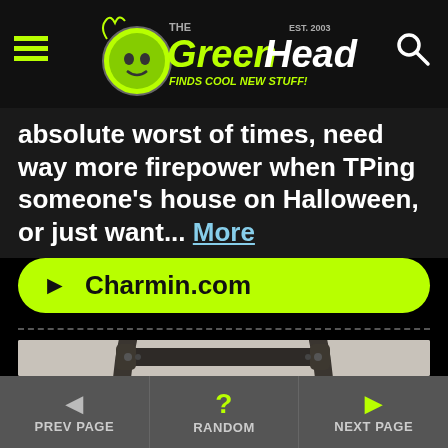The Green Head - Finds Cool New Stuff!
absolute worst of times, need way more firepower when TPing someone's house on Halloween, or just want... More
► Charmin.com
[Figure (photo): Close-up photo of a dark metal rack or stand with curved arms and a horizontal bar, against a light gray concrete background.]
◄ PREV PAGE   ? RANDOM   ► NEXT PAGE